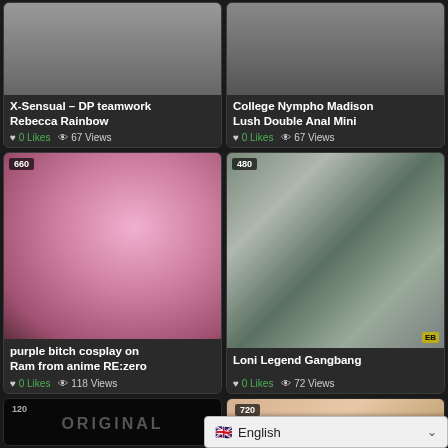[Figure (screenshot): Video thumbnail for X-Sensual DP teamwork Rebecca Rainbow, showing partial image at top]
X-Sensual – DP teamwork Rebecca Rainbow
0 Likes  67 Views
[Figure (screenshot): Video thumbnail for College Nympho Madison Lush Double Anal Mini]
College Nympho Madison Lush Double Anal Mini
0 Likes  67 Views
[Figure (screenshot): Video thumbnail 660 - purple bitch cosplay on Ram from anime RE:zero, pink-haired cosplay character]
purple bitch cosplay on Ram from anime RE:zero
0 Likes  118 Views
[Figure (screenshot): Video thumbnail 480 - Loni Legend Gangbang, woman in green apron with men]
Loni Legend Gangbang
0 Likes  72 Views
[Figure (screenshot): Video thumbnail 120 showing ORIGINAL text on dark background]
[Figure (screenshot): Video thumbnail 720 showing close-up skin tones]
English language selector